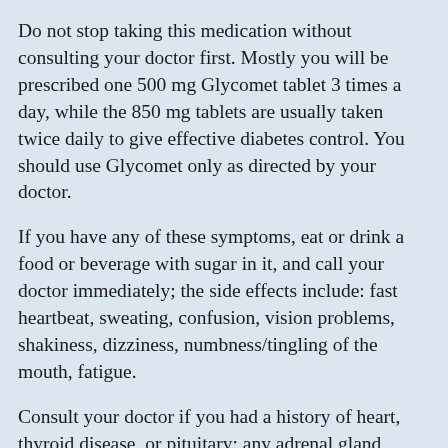Do not stop taking this medication without consulting your doctor first. Mostly you will be prescribed one 500 mg Glycomet tablet 3 times a day, while the 850 mg tablets are usually taken twice daily to give effective diabetes control. You should use Glycomet only as directed by your doctor.
If you have any of these symptoms, eat or drink a food or beverage with sugar in it, and call your doctor immediately; the side effects include: fast heartbeat, sweating, confusion, vision problems, shakiness, dizziness, numbness/tingling of the mouth, fatigue.
Consult your doctor if you had a history of heart, thyroid disease, or pituitary; any adrenal gland problems; hormone problems; or a severe infection. Tell your doctor about all kind of medications you are taking, as these may interfere with the ability of Glycomet to control your blood sugar level.